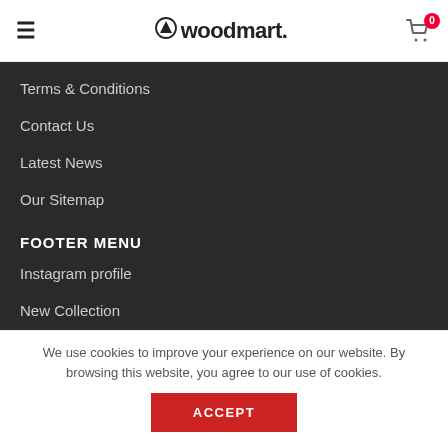woodmart.
Terms & Conditions
Contact Us
Latest News
Our Sitemap
FOOTER MENU
Instagram profile
New Collection
We use cookies to improve your experience on our website. By browsing this website, you agree to our use of cookies.
ACCEPT